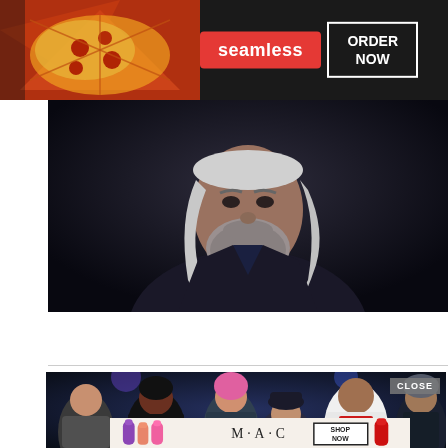[Figure (photo): Seamless food delivery advertisement banner with pizza image on left, red Seamless logo in center, and 'ORDER NOW' button with white border on right, dark background]
[Figure (photo): Close-up photo of an older man with long white/gray hair and a gray beard against a dark background]
[Figure (photo): Group photo of approximately 6 musicians/performers standing together against a dark background]
[Figure (photo): MAC cosmetics advertisement showing colorful lipsticks (purple, coral, pink, red), MAC brand name, and a 'SHOP NOW' button with black border]